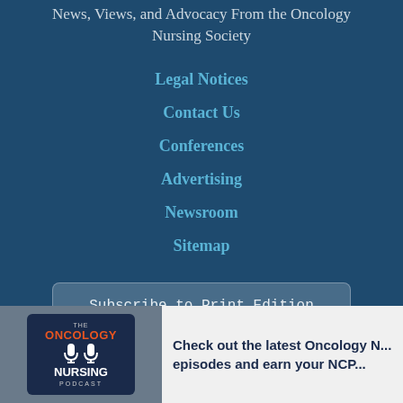News, Views, and Advocacy From the Oncology Nursing Society
Legal Notices
Contact Us
Conferences
Advertising
Newsroom
Sitemap
Subscribe to Print Edition
[Figure (logo): The Oncology Nursing Podcast badge/logo shown on a mobile phone screen]
Check out the latest Oncology N... episodes and earn your NCP...